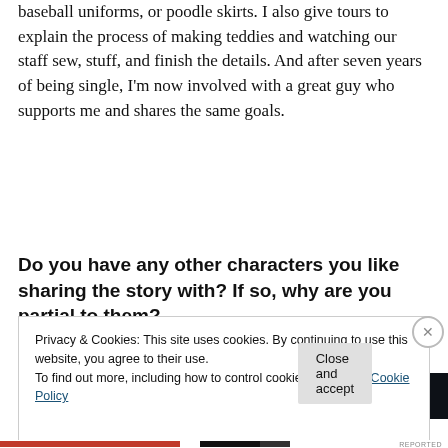baseball uniforms, or poodle skirts. I also give tours to explain the process of making teddies and watching our staff sew, stuff, and finish the details. And after seven years of being single, I'm now involved with a great guy who supports me and shares the same goals.
[Figure (screenshot): Advertisements banner with dark background showing partial text]
Do you have any other characters you like sharing the story with? If so, why are you partial to them?
Privacy & Cookies: This site uses cookies. By continuing to use this website, you agree to their use.
To find out more, including how to control cookies, see here: Cookie Policy
Close and accept